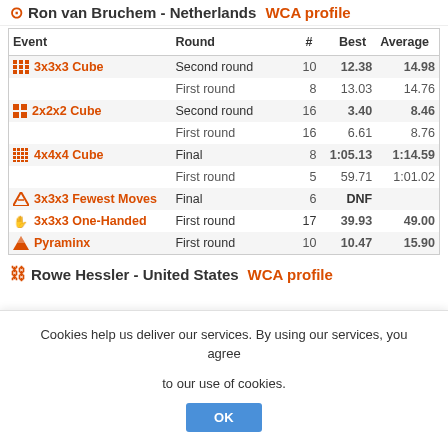Ron van Bruchem - Netherlands WCA profile
| Event | Round | # | Best | Average |
| --- | --- | --- | --- | --- |
| 3x3x3 Cube | Second round | 10 | 12.38 | 14.98 |
|  | First round | 8 | 13.03 | 14.76 |
| 2x2x2 Cube | Second round | 16 | 3.40 | 8.46 |
|  | First round | 16 | 6.61 | 8.76 |
| 4x4x4 Cube | Final | 8 | 1:05.13 | 1:14.59 |
|  | First round | 5 | 59.71 | 1:01.02 |
| 3x3x3 Fewest Moves | Final | 6 | DNF |  |
| 3x3x3 One-Handed | First round | 17 | 39.93 | 49.00 |
| Pyraminx | First round | 10 | 10.47 | 15.90 |
Rowe Hessler - United States WCA profile
Cookies help us deliver our services. By using our services, you agree to our use of cookies.
OK